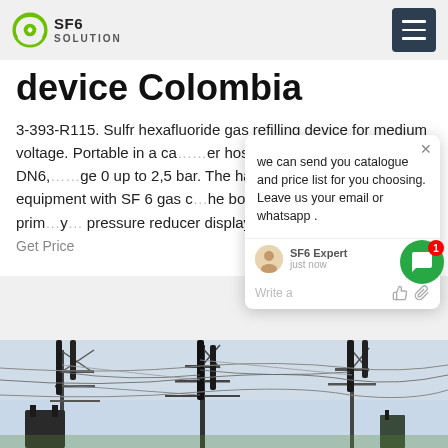SF6 SOLUTION
device Colombia
3-393-R115. Sulfr hexafluoride gas refilling device for medium voltage. Portable in a ca... er hose and couplings DN8 und DN6, ...ge 0 up to 2,5 bar. The handy devices a... electrical equipment with SF 6 gas c... he bottle by overpressure. The prim...y... pressure reducer displays the bottle... bar, psi
Get Price
[Figure (photo): Electrical power substation with high voltage transmission towers, insulators, and overhead power lines against a sky background.]